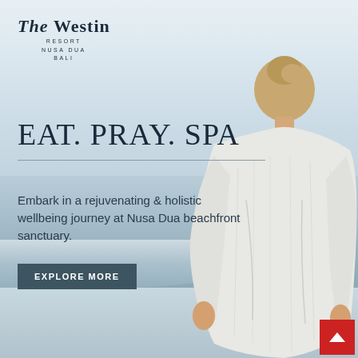[Figure (photo): The Westin Resort Nusa Dua Bali promotional page. A woman with blonde hair in a bun, wearing a white linen top, is seen from behind standing at a Nusa Dua beachfront with ocean waves and sky in background. The overall color palette is soft blue-grey and white.]
THE WESTIN RESORT NUSA DUA BALI
EAT. PRAY. SPA
Embark in a rejuvenating & holistic wellbeing journey at Nusa Dua beachfront sanctuary.
EXPLORE MORE